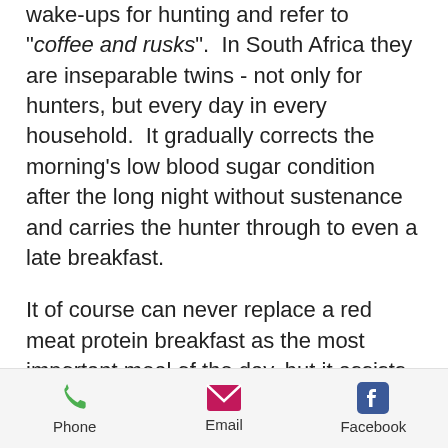wake-ups for hunting and refer to "coffee and rusks".  In South Africa they are inseparable twins - not only for hunters, but every day in every household.  It gradually corrects the morning's low blood sugar condition after the long night without sustenance and carries the hunter through to even a late breakfast.

It of course can never replace a red meat protein breakfast as the most important meal of the day, but it assists that clear mind, controlled breathing and steady hold and smooth trigger pressure required
Phone | Email | Facebook